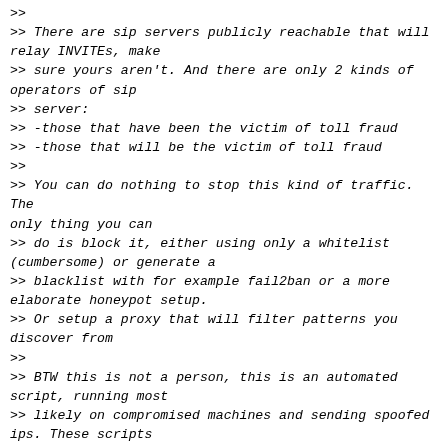>>
>> There are sip servers publicly reachable that will relay INVITEs, make
>> sure yours aren't. And there are only 2 kinds of operators of sip
>> server:
>> -those that have been the victim of toll fraud
>> -those that will be the victim of toll fraud
>>
>> You can do nothing to stop this kind of traffic. The only thing you can
>> do is block it, either using only a whitelist (cumbersome) or generate a
>> blacklist with for example fail2ban or a more elaborate honeypot setup.
>> Or setup a proxy that will filter patterns you discover from
>>
>> BTW this is not a person, this is an automated script, running most
>> likely on compromised machines and sending spoofed ips. These scripts
>> care about generating a ring on a phone (again most an abuseable/hacked
>> account (or purchased with CC fraud)). If they find a server that does,
>> it will be targetted for all kind of fraud.
>>
>
> Very interesting.